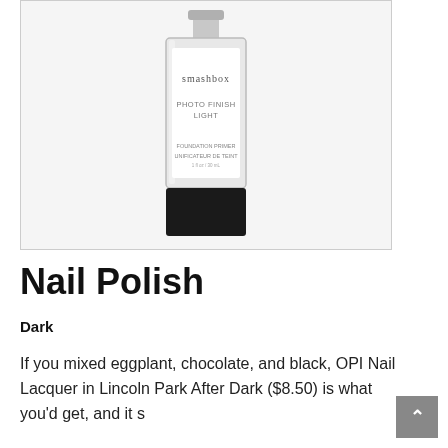[Figure (photo): A Smashbox Photo Finish Light Foundation Primer bottle — clear glass/plastic rectangular bottle with white label reading 'smashbox PHOTO FINISH LIGHT FOUNDATION PRIMER UNIFICATEUR DE TEINT 1 fl oz / 30 mL', with a black base/cap, shown against a light gray background inside a thin bordered box.]
Nail Polish
Dark
If you mixed eggplant, chocolate, and black, OPI Nail Lacquer in Lincoln Park After Dark ($8.50) is what you'd get, and it s